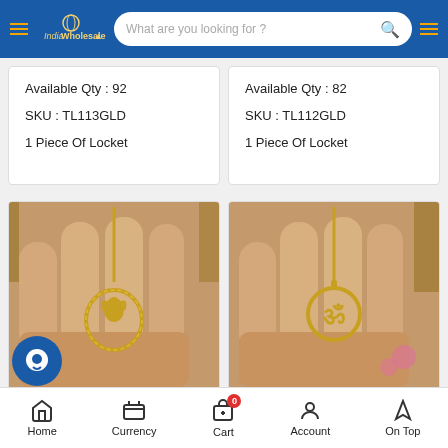India Wholesale - Search bar header
Available Qty : 92
SKU : TL113GLD
1 Piece Of Locket
Available Qty : 82
SKU : TL112GLD
1 Piece Of Locket
[Figure (photo): Hand holding a gold-colored Lord Ganesha temple locket pendant on a snake chain]
[Figure (photo): Hand holding a gold-colored Om symbol temple locket pendant on a snake chain]
...lor Lord Ganesha Tem...
Gold Color Om Temple Locket...
Home  Currency  Cart 0  Account  On Top